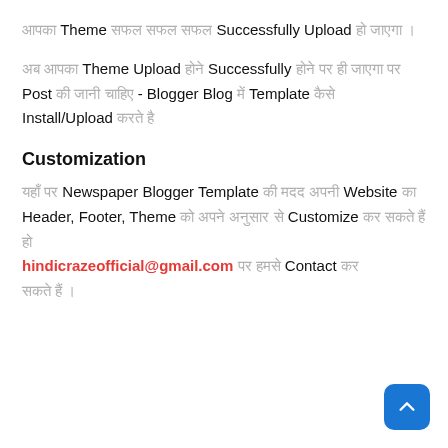आपका Theme सफल सफल सफल Successfully Upload हो जाएगा ।
अब आपका Theme Upload होने Successfully होने पर ही जाएगा पर Post की जानी चाहिए - Blogger Blog में Template कैसे Install/Upload करते है
Customization
यहाँ पर Newspaper Blogger Template की मदद अपनी Website का Header, Footer, Theme को अपने अनुसार से Customize कर सकते हैं हो hindicrazeofficial@gmail.com पर हमसे Contact कर सकते हैं ।